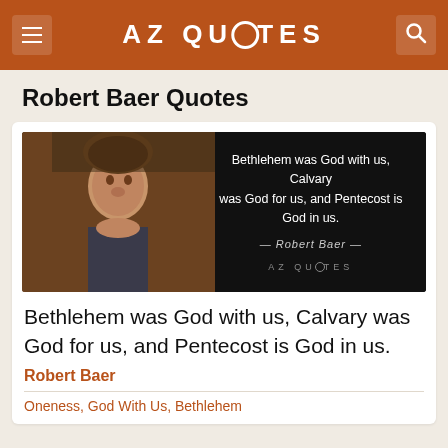AZ QUOTES
Robert Baer Quotes
[Figure (photo): Quote card featuring a photo of Robert Baer on the left and white text on black background reading: 'Bethlehem was God with us, Calvary was God for us, and Pentecost is God in us.' with signature '— Robert Baer —' and AZ QUOTES logo]
Bethlehem was God with us, Calvary was God for us, and Pentecost is God in us.
Robert Baer
Oneness, God With Us, Bethlehem